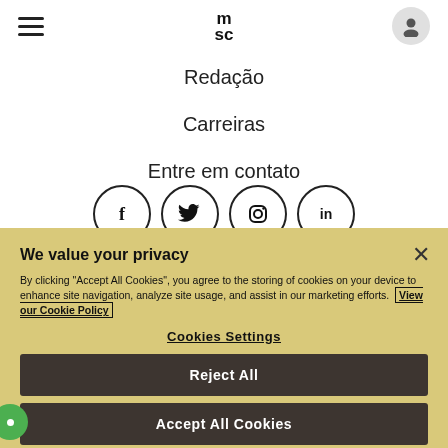MSC — hamburger menu, logo, user icon
Redação
Carreiras
Entre em contato
[Figure (other): Four social media icons in circles: Facebook (f), Twitter (bird), Instagram (camera), LinkedIn (in)]
We value your privacy
By clicking "Accept All Cookies", you agree to the storing of cookies on your device to enhance site navigation, analyze site usage, and assist in our marketing efforts. View our Cookie Policy
Cookies Settings
Reject All
Accept All Cookies